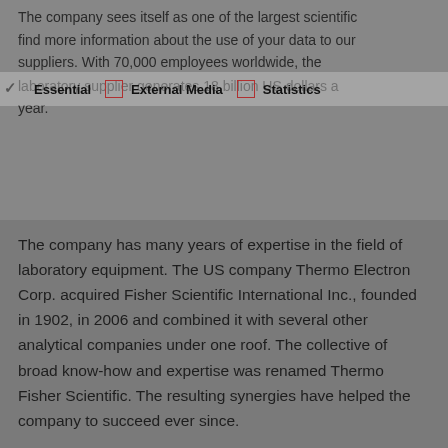The company sees itself as one of the largest scientific find more information about the use of your data to our suppliers. With 70,000 employees worldwide, the laboratory supplier generates 18 billion US dollars a year.
Essential  External Media  Statistics
The company has many years of expertise in the field of laboratory equipment. The US company Thermo Electron Corp. acquired Fisher Scientific International Inc., founded in 1902, in 2006 and combined it with several other analytical companies under one roof. The collective of broad know-how and expertise was renamed Thermo Fisher Scientific. The resulting synergies have helped the company to succeed ever since.